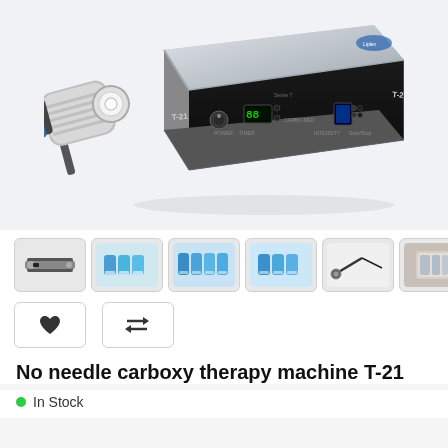[Figure (photo): No needle carboxy therapy machine T-21 device, silver/black box unit with control panel and handheld applicator, shown at an angle on white background]
[Figure (photo): Row of 6 product thumbnail images: device top view, blue ampoule set 1, blue ampoule set 2, blue ampoule set 3, cable/needle accessory, glass vial accessory]
[Figure (other): Action buttons row with heart/wishlist icon and compare icon]
No needle carboxy therapy machine T-21
In Stock